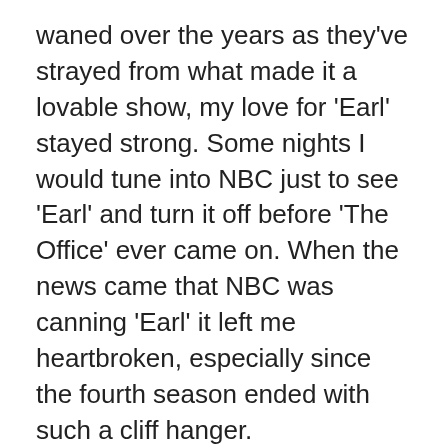waned over the years as they've strayed from what made it a lovable show, my love for 'Earl' stayed strong. Some nights I would tune into NBC just to see 'Earl' and turn it off before 'The Office' ever came on. When the news came that NBC was canning 'Earl' it left me heartbroken, especially since the fourth season ended with such a cliff hanger.
Earl (Jason Lee) believes in karma. In his past life he was a bad person, now, in order to make up for his past wrongs, Earl has made a list of everything he's ever done wrong to people. The rest of the show is him going about helping people that he once wronged.
Except for the third season, where Earl spent most of the time inside the place, to make for his past wrongs...